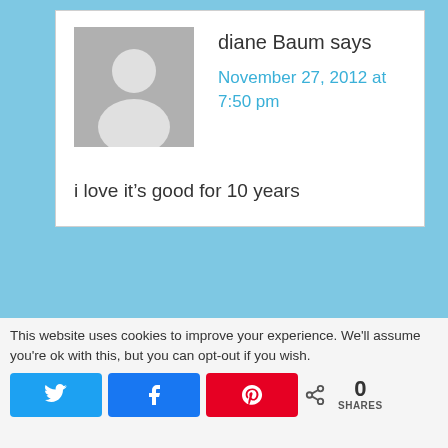diane Baum says
November 27, 2012 at 7:50 pm
i love it’s good for 10 years
This website uses cookies to improve your experience. We'll assume you're ok with this, but you can opt-out if you wish.
0 SHARES